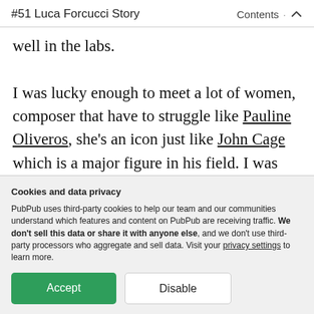#51 Luca Forcucci Story   Contents ∧
well in the labs.

I was lucky enough to meet a lot of women, composer that have to struggle like Pauline Oliveros, she's an icon just like John Cage which is a major figure in his field. I was able to meet her, she is a really generous person. I think
Cookies and data privacy
PubPub uses third-party cookies to help our team and our communities understand which features and content on PubPub are receiving traffic. We don't sell this data or share it with anyone else, and we don't use third-party processors who aggregate and sell data. Visit your privacy settings to learn more.
Accept  Disable